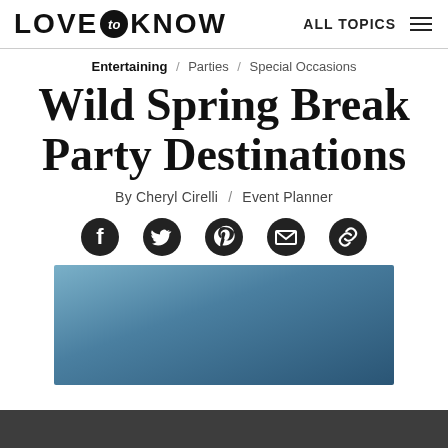LOVE to KNOW  ALL TOPICS
Entertaining / Parties / Special Occasions
Wild Spring Break Party Destinations
By Cheryl Cirelli / Event Planner
[Figure (other): Social share icons: Facebook, Twitter, Pinterest, Email, Link]
[Figure (photo): Blue gradient image placeholder for article hero image]